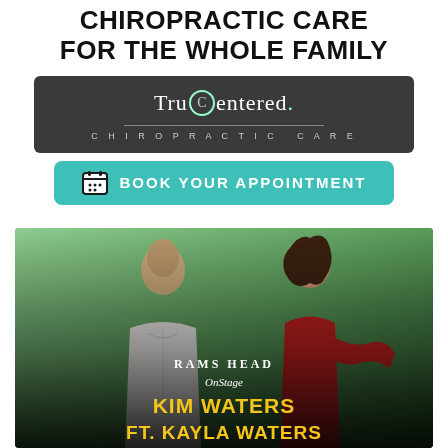CHIROPRACTIC CARE FOR THE WHOLE FAMILY
[Figure (logo): TruCentered Chiropractic Care logo on dark background with teal Book Your Appointment button]
[Figure (photo): Concert poster for Rams Head On Stage featuring Kim Waters ft. Kayla Waters, with two performers against a green background]